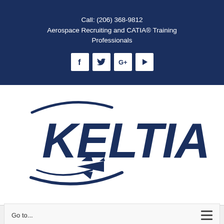Call: (206) 368-9812
Aerospace Recruiting and CATIA® Training Professionals
[Figure (logo): Social media icons: Facebook, Twitter, Google+, YouTube in white square buttons on dark blue background]
[Figure (logo): KELTIA company logo with dark blue stylized swoosh arc and airplane silhouette beneath the bold KELTIA wordmark]
Go to...